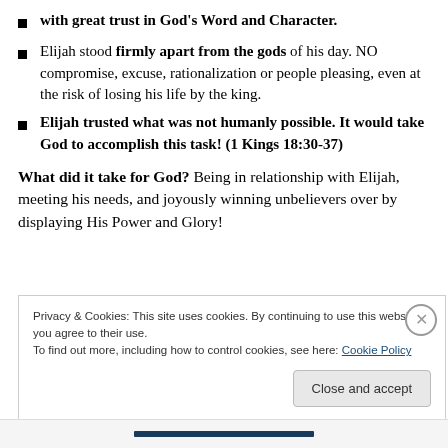with great trust in God's Word and Character.
Elijah stood firmly apart from the gods of his day. NO compromise, excuse, rationalization or people pleasing, even at the risk of losing his life by the king.
Elijah trusted what was not humanly possible. It would take God to accomplish this task! (1 Kings 18:30-37)
What did it take for God? Being in relationship with Elijah, meeting his needs, and joyously winning unbelievers over by displaying His Power and Glory!
Privacy & Cookies: This site uses cookies. By continuing to use this website, you agree to their use.
To find out more, including how to control cookies, see here: Cookie Policy